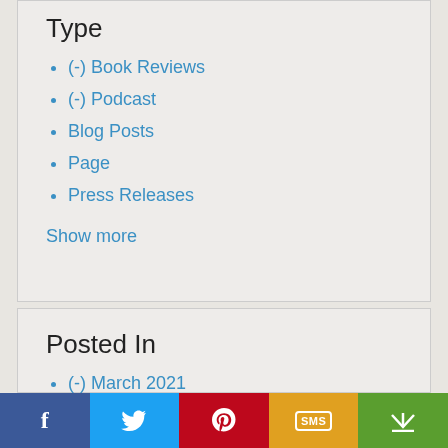Type
(-) Book Reviews
(-) Podcast
Blog Posts
Page
Press Releases
Show more
Posted In
(-) March 2021
f  [twitter bird]  [pinterest P]  SMS  [share icon]